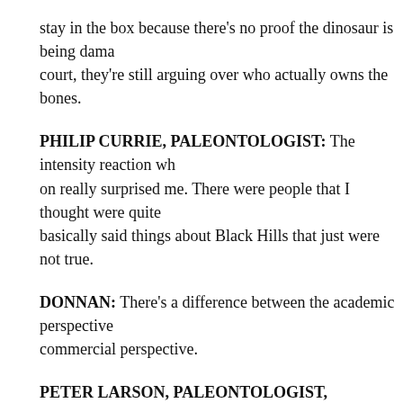stay in the box because there's no proof the dinosaur is being damaged. In court, they're still arguing over who actually owns the bones.
PHILIP CURRIE, PALEONTOLOGIST: The intensity reaction which went on really surprised me. There were people that I thought were quite... basically said things about Black Hills that just were not true.
DONNAN: There's a difference between the academic perspective and the commercial perspective.
PETER LARSON, PALEONTOLOGIST, PRESIDENT, BLACK HILLS GEOLOGICAL RESEARCH, INC.: There are some people in this field who believe that it is -- there's something morally wrong with selling a fossil.
ROBERT BAKKER, PALEONTOLOGIST & CURATOR, HOUSTON MUSEUM OF NATURAL HISTORY: I was indoctrinated as an undergrad, that if you sold...